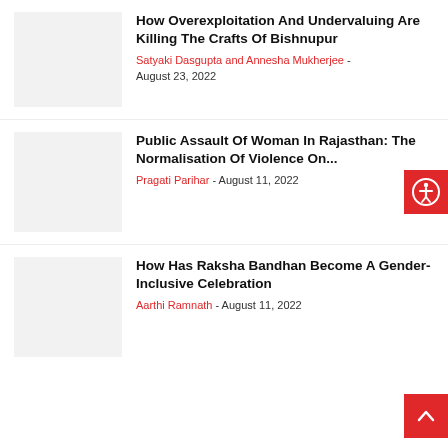How Overexploitation And Undervaluing Are Killing The Crafts Of Bishnupur
Satyaki Dasgupta and Annesha Mukherjee - August 23, 2022
Public Assault Of Woman In Rajasthan: The Normalisation Of Violence On...
Pragati Parihar - August 11, 2022
How Has Raksha Bandhan Become A Gender-Inclusive Celebration
Aarthi Ramnath - August 11, 2022